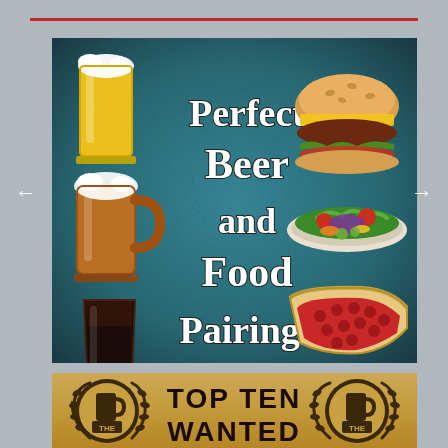[Figure (infographic): Perfect Beer and Food Pairings infographic with dark teal/blue textured background. Left side shows three beer illustrations: a tall glass of lager (golden), a mug of brown ale (with foam), and a pint of stout (dark/black). Center text reads 'Perfect Beer and Food Pairings' in white handwritten-style font. Right side shows three food illustrations: a hamburger, a salad on a plate, and a pie/pastry slice.]
[Figure (infographic): Partially visible banner with aged parchment/paper texture background showing 'TOP TEN WANTED' text in large bold black letters. Flanked by two beer mug logo/badge illustrations with wheat wreaths and 'THE' text banner.]